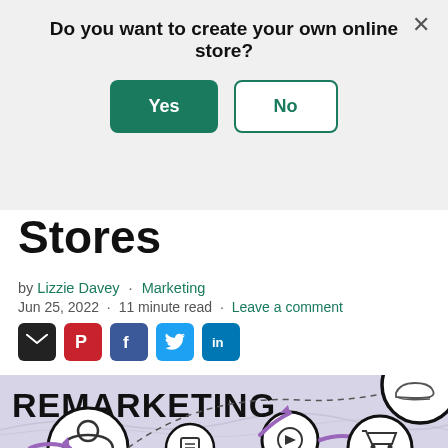[Figure (screenshot): Modal dialog overlay on a webpage asking 'Do you want to create your own online store?' with a green 'Yes' button and a bordered 'No' button, and an X close button in top right.]
Stores
by Lizzie Davey · Marketing
Jun 25, 2022 · 11 minute read · Leave a comment
[Figure (infographic): Remarketing infographic on a purple/lavender background showing a dashed path connecting icons: a person silhouette, a video play button circle, a shoe product circle, a shopping cart circle, and other icons with purple curved arrows indicating the remarketing journey.]